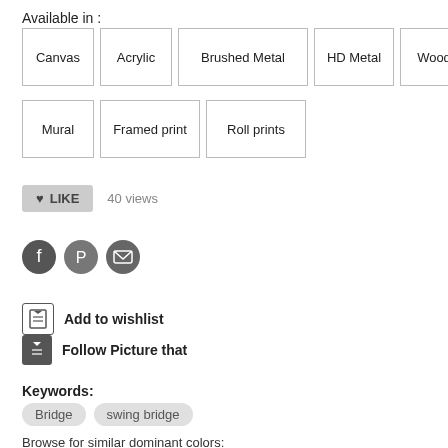Available in :
Canvas
Acrylic
Brushed Metal
HD Metal
Wood
Mural
Framed print
Roll prints
40 views
Add to wishlist
Follow Picture that
Keywords:
Bridge
swing bridge
Browse for similar dominant colors: